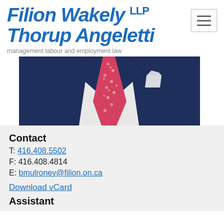[Figure (logo): Filion Wakely LLP Thorup Angeletti law firm logo in blue italic bold text with hamburger menu icon]
management labour and employment law
[Figure (photo): Partial photo of a person in a navy blue suit with a floral/patterned red/pink tie and white pocket square, torso only visible]
Contact
T: 416.408.5502
F: 416.408.4814
E: bmulroney@filion.on.ca
Download vCard
Assistant